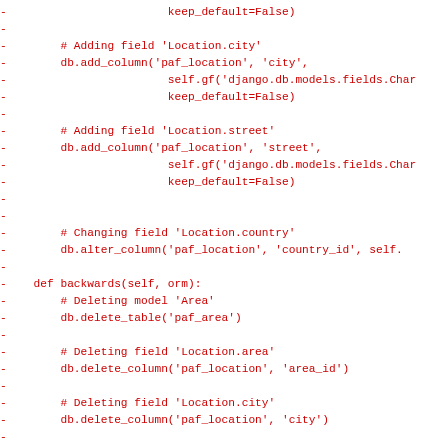Code diff showing database migration backwards/forwards methods in Python (Django)